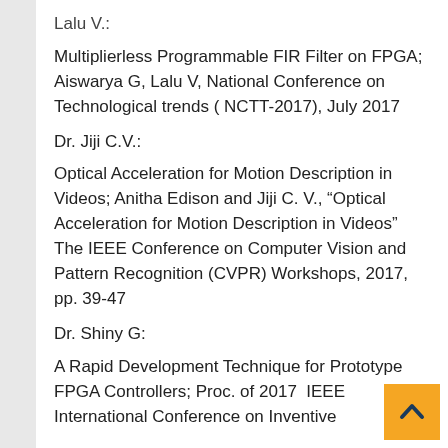Lalu V.:
Multiplierless Programmable FIR Filter on FPGA; Aiswarya G, Lalu V, National Conference on Technological trends ( NCTT-2017), July 2017
Dr. Jiji C.V.:
Optical Acceleration for Motion Description in Videos; Anitha Edison and Jiji C. V., “Optical Acceleration for Motion Description in Videos” The IEEE Conference on Computer Vision and Pattern Recognition (CVPR) Workshops, 2017, pp. 39-47
Dr. Shiny G:
A Rapid Development Technique for Prototype FPGA Controllers; Proc. of 2017  IEEE International Conference on Inventive